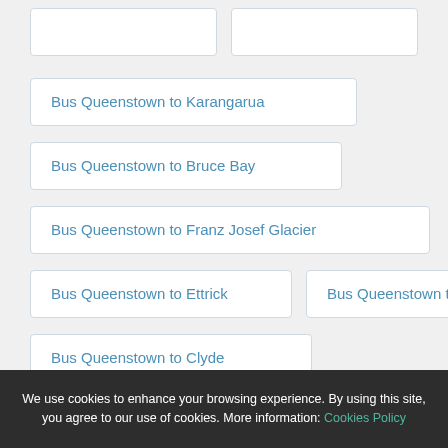Bus Queenstown to Karangarua
Bus Queenstown to Bruce Bay
Bus Queenstown to Franz Josef Glacier
Bus Queenstown to Ettrick
Bus Queenstown to Fairfield
Bus Queenstown to Clyde
Bus Queenstown to Makarora
We use cookies to enhance your browsing experience. By using this site, you agree to our use of cookies. More information: Cookies Policy